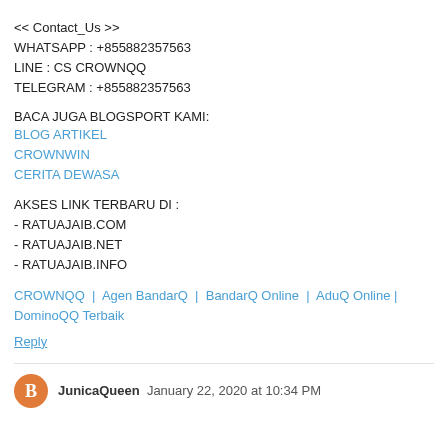<< Contact_Us >>
WHATSAPP : +855882357563
LINE : CS CROWNQQ
TELEGRAM : +855882357563
BACA JUGA BLOGSPORT KAMI:
BLOG ARTIKEL
CROWNWIN
CERITA DEWASA
AKSES LINK TERBARU DI :
- RATUAJAIB.COM
- RATUAJAIB.NET
- RATUAJAIB.INFO
CROWNQQ | Agen BandarQ | BandarQ Online | AduQ Online | DominoQQ Terbaik
Reply
JunicaQueen  January 22, 2020 at 10:34 PM